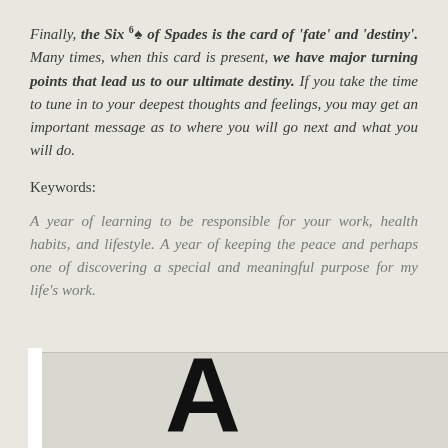Finally, the Six ♠ of Spades is the card of 'fate' and 'destiny'. Many times, when this card is present, we have major turning points that lead us to our ultimate destiny. If you take the time to tune in to your deepest thoughts and feelings, you may get an important message as to where you will go next and what you will do.
Keywords:
A year of learning to be responsible for your work, health habits, and lifestyle. A year of keeping the peace and perhaps one of discovering a special and meaningful purpose for my life's work.
[Figure (illustration): Bottom portion of a playing card showing a large black letter A, with a white card edge strip on the left and a light grey card body]